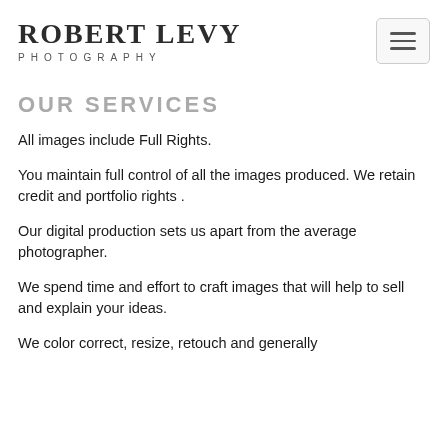ROBERT LEVY PHOTOGRAPHY
OUR SERVICES
All images include Full Rights.
You maintain full control of all the images produced. We retain credit and portfolio rights .
Our digital production sets us apart from the average photographer.
We spend time and effort to craft images that will help to sell and explain your ideas.
We color correct, resize, retouch and generally